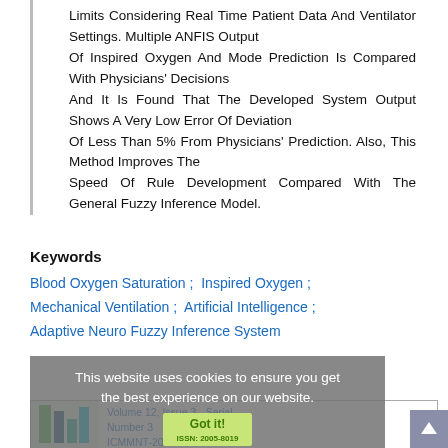Limits Considering Real Time Patient Data And Ventilator Settings. Multiple ANFIS Output Of Inspired Oxygen And Mode Prediction Is Compared With Physicians' Decisions And It Is Found That The Developed System Output Shows A Very Low Error Of Deviation Of Less Than 5% From Physicians' Prediction. Also, This Method Improves The Speed Of Rule Development Compared With The General Fuzzy Inference Model.
Keywords
Blood Oxygen Saturation ;  Inspired Oxygen ; Mechanical Ventilation ;  Artificial Intelligence ; Adaptive Neuro Fuzzy Inference System
This website uses cookies to ensure you get the best experience on our website.
Volume 12, Issue 3 - Serial Number 3
ICMMNT-2021 International Virtual Conference on